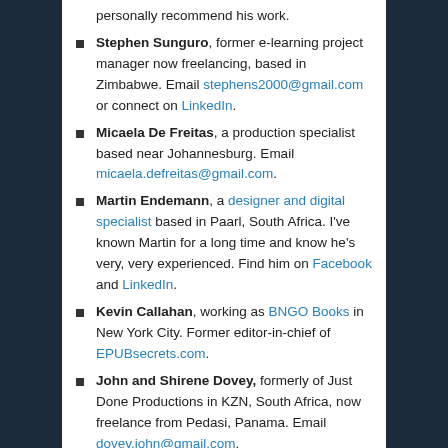Stephen Sunguro, former e-learning project manager now freelancing, based in Zimbabwe. Email stephens2000@gmail.com or connect on LinkedIn.
Micaela De Freitas, a production specialist based near Johannesburg. Email micaela.defreitas@gmail.com.
Martin Endemann, a designer and digital specialist based in Paarl, South Africa. I've known Martin for a long time and know he's very, very experienced. Find him on Facebook and LinkedIn.
Kevin Callahan, working as BNGO Books in New York City. Former editor-in-chief of EPUBsecrets.com.
John and Shirene Dovey, formerly of Just Done Productions in KZN, South Africa, now freelance from Pedasi, Panama. Email dovey.john@gmail.com.
Heleen Liebenberg, working as élan Concepts near Johannesburg. She's on LinkedIn, or email ms.hliebenberg@gmail.com